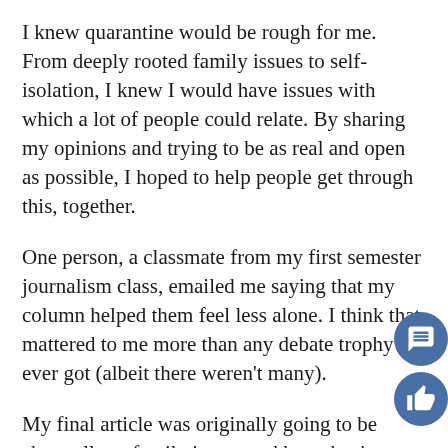I knew quarantine would be rough for me. From deeply rooted family issues to self-isolation, I knew I would have issues with which a lot of people could relate. By sharing my opinions and trying to be as real and open as possible, I hoped to help people get through this, together.
One person, a classmate from my first semester journalism class, emailed me saying that my column helped them feel less alone. I think that mattered to me more than any debate trophy I ever got (albeit there weren't many).
My final article was originally going to be about all my family issues and how they've manifested in quarantine, but I opted to write about going back to school since it seemed more relevant, concise more applicable to a general audience.